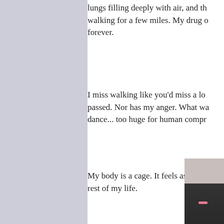lungs filling deeply with air, and th... walking for a few miles. My drug o... forever.
I miss walking like you'd miss a lo... passed. Nor has my anger. What wa... dance... too huge for human compr...
My body is a cage. It feels as if my... rest of my life.
[Figure (photo): Partial photo showing a wall base and dark ground/pavement, with a small pink mark visible near the bottom left of the image.]